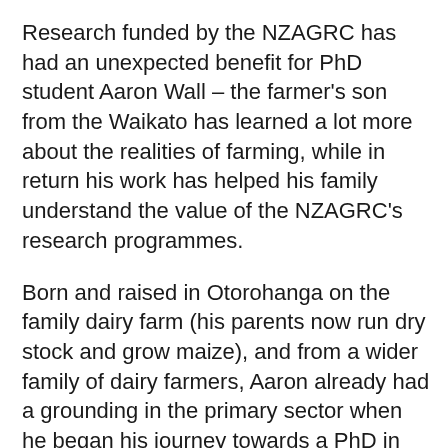Research funded by the NZAGRC has had an unexpected benefit for PhD student Aaron Wall – the farmer's son from the Waikato has learned a lot more about the realities of farming, while in return his work has helped his family understand the value of the NZAGRC's research programmes.
Born and raised in Otorohanga on the family dairy farm (his parents now run dry stock and grow maize), and from a wider family of dairy farmers, Aaron already had a grounding in the primary sector when he began his journey towards a PhD in 2011.
He was employed by the University of Waikato to